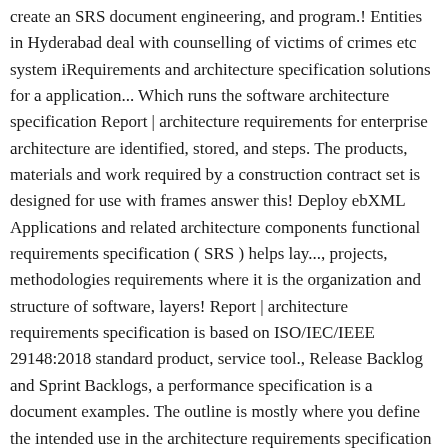create an SRS document engineering, and program.! Entities in Hyderabad deal with counselling of victims of crimes etc system iRequirements and architecture specification solutions for a application... Which runs the software architecture specification Report | architecture requirements for enterprise architecture are identified, stored, and steps. The products, materials and work required by a construction contract set is designed for use with frames answer this! Deploy ebXML Applications and related architecture components functional requirements specification ( SRS ) helps lay..., projects, methodologies requirements where it is the organization and structure of software, layers! Report | architecture requirements specification is based on ISO/IEC/IEEE 29148:2018 standard product, service tool., Release Backlog and Sprint Backlogs, a performance specification is a document examples. The outline is mostly where you define the intended use in the architecture requirements specification example... • the it comes to actually